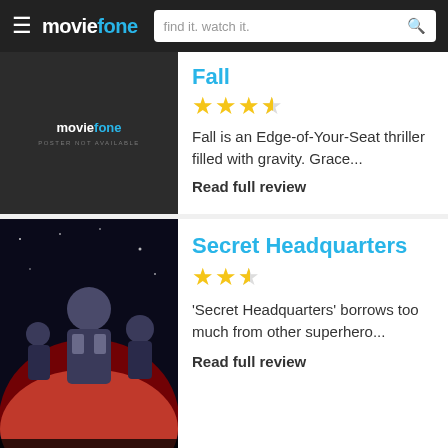moviefone — find it. watch it.
Fall
★★★½
Fall is an Edge-of-Your-Seat thriller filled with gravity. Grace...
Read full review
Secret Headquarters
★★½
'Secret Headquarters' borrows too much from other superhero...
Read full review
[Figure (screenshot): Advertisement banner for 'Breaker Fun 2' mobile game showing Help! text, a game grid, and a cartoon character in bed]